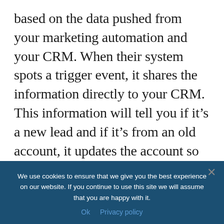based on the data pushed from your marketing automation and your CRM. When their system spots a trigger event, it shares the information directly to your CRM. This information will tell you if it's a new lead and if it's from an old account, it updates the account so that sales reps can follow up.
Don't waste time and
We use cookies to ensure that we give you the best experience on our website. If you continue to use this site we will assume that you are happy with it.
Ok   Privacy policy